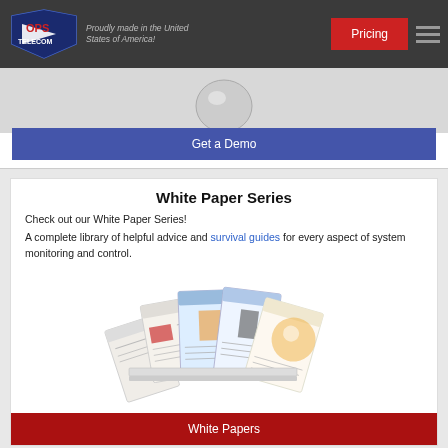OPS Telecom — Proudly made in the United States of America! | Pricing
Get a Demo
White Paper Series
Check out our White Paper Series!
A complete library of helpful advice and survival guides for every aspect of system monitoring and control.
[Figure (illustration): Fan of white paper booklets/guides fanned out showing multiple covers]
White Papers